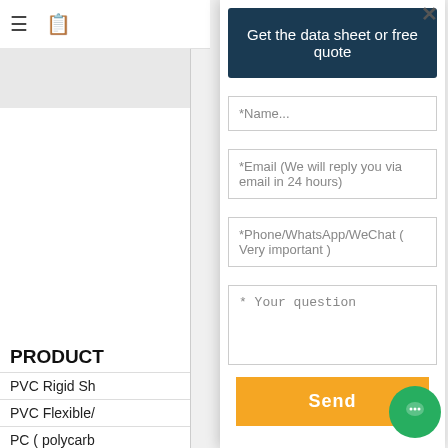Get the data sheet or free quote
*Name...
*Email (We will reply you via email in 24 hours)
*Phone/WhatsApp/WeChat ( Very important )
* Your question
Send
PRODUCT
PVC Rigid Sh...
PVC Flexible/...
PC ( polycarb...